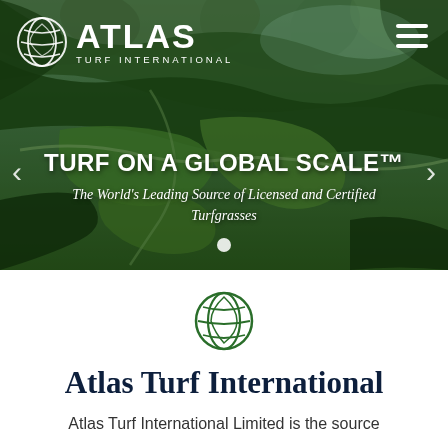[Figure (screenshot): Hero banner of Atlas Turf International website showing aerial view of a lush green golf course with mountains. Contains logo top-left (globe icon + ATLAS TURF INTERNATIONAL), hamburger menu top-right, navigation arrows on sides, headline 'TURF ON A GLOBAL SCALE™', subheading 'The World's Leading Source of Licensed and Certified Turfgrasses', and a white dot pagination indicator.]
[Figure (logo): Atlas Turf International green globe/leaf logo mark]
Atlas Turf International
Atlas Turf International Limited is the source